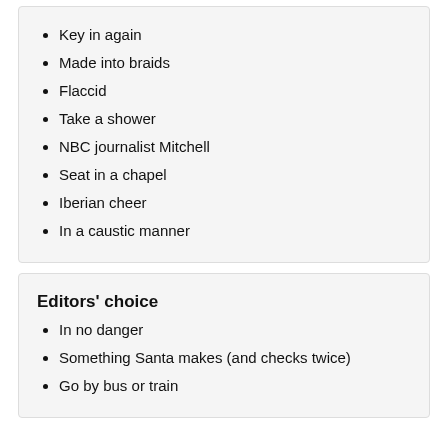Key in again
Made into braids
Flaccid
Take a shower
NBC journalist Mitchell
Seat in a chapel
Iberian cheer
In a caustic manner
Editors' choice
In no danger
Something Santa makes (and checks twice)
Go by bus or train